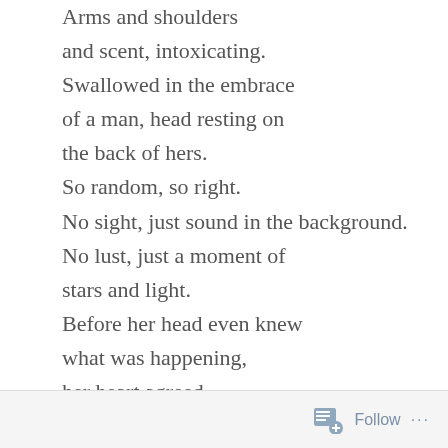Arms and shoulders
and scent, intoxicating.
Swallowed in the embrace
of a man, head resting on
the back of hers.
So random, so right.
No sight, just sound in the background.
No lust, just a moment of
stars and light.
Before her head even knew
what was happening,
her heart agreed
to dive into this act of his
that brought her
peace.
Follow ···